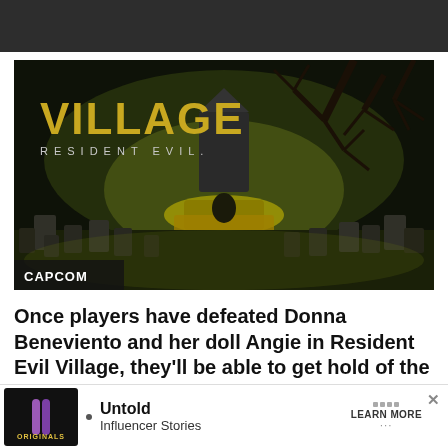[Figure (photo): Resident Evil Village promotional screenshot showing a dark cemetery scene with glowing altar, gravestones, and the game logo 'VILLAGE RESIDENT EVIL' in golden text. Lower left corner shows 'CAPCOM' label.]
Once players have defeated Donna Beneviento and her doll Angie in Resident Evil Village, they'll be able to get hold of the Beneviento treasure — but it won't be easy
[Figure (infographic): Advertisement banner: Originals logo on the left, bullet point, 'Untold Influencer Stories' text in center, 'LEARN MORE' button on right, with close X button.]